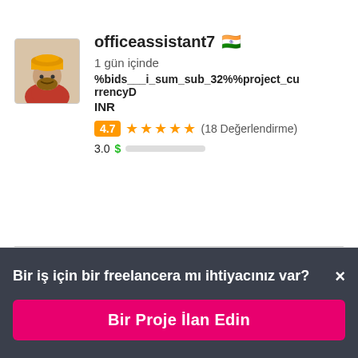officeassistant7 🇮🇳
1 gün içinde
%bids___i_sum_sub_32%%project_currencyD
INR
4.7 ★★★★★ (18 Değerlendirme)
3.0 $ ██░░░░░░░░
Bir iş için bir freelancera mı ihtiyacınız var? ×
Bir Proje İlan Edin